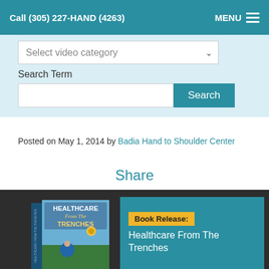Call (305) 227-HAND (4263)  MENU
Select video category
Search Term
Search
Posted on May 1, 2014 by Badia Hand to Shoulder Center
Share
[Figure (screenshot): Book release banner showing 'Healthcare From The Trenches' book cover on dark background with teal and yellow accent panel reading 'Book Release: Healthcare From The Trenches']